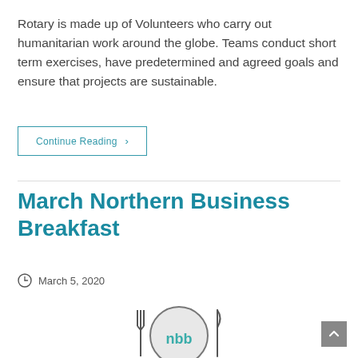Rotary is made up of Volunteers who carry out humanitarian work around the globe. Teams conduct short term exercises, have predetermined and agreed goals and ensure that projects are sustainable.
Continue Reading ›
March Northern Business Breakfast
March 5, 2020
[Figure (logo): Northern Business Breakfast logo — circular emblem with fork and knife icons and teal text 'nbb']